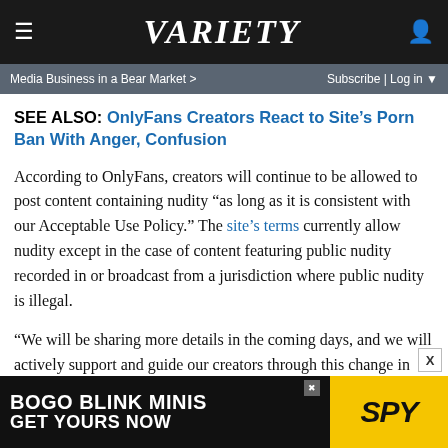VARIETY
Media Business in a Bear Market >    Subscribe | Log in
SEE ALSO: OnlyFans Creators React to Site’s Porn Ban With Anger, Confusion
According to OnlyFans, creators will continue to be allowed to post content containing nudity “as long as it is consistent with our Acceptable Use Policy.” The site’s terms currently allow nudity except in the case of content featuring public nudity recorded in or broadcast from a jurisdiction where public nudity is illegal.
“We will be sharing more details in the coming days, and we will actively support and guide our creators through this change in content guidelines,” the company said. “OnlyFans remains committed to the highest levels of safety and content
[Figure (screenshot): Advertisement banner: BOGO BLINK MINIS GET YOURS NOW with SPY logo on yellow background]